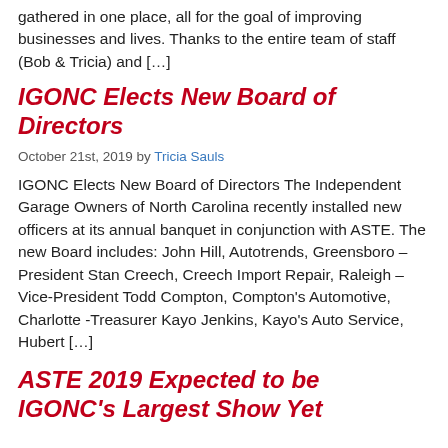gathered in one place, all for the goal of improving businesses and lives. Thanks to the entire team of staff (Bob & Tricia) and […]
IGONC Elects New Board of Directors
October 21st, 2019 by Tricia Sauls
IGONC Elects New Board of Directors The Independent Garage Owners of North Carolina recently installed new officers at its annual banquet in conjunction with ASTE. The new Board includes: John Hill, Autotrends, Greensboro – President Stan Creech, Creech Import Repair, Raleigh – Vice-President Todd Compton, Compton's Automotive, Charlotte -Treasurer Kayo Jenkins, Kayo's Auto Service, Hubert […]
ASTE 2019 Expected to be IGONC's Largest Show Yet